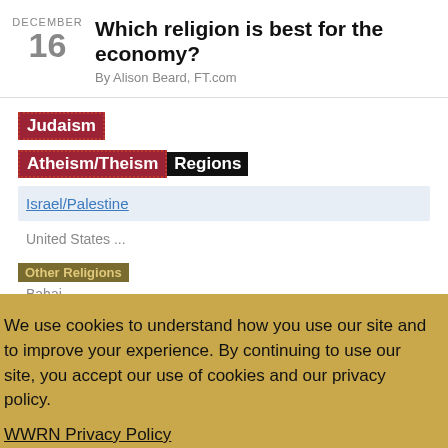DECEMBER 16
Which religion is best for the economy?
By Alison Beard, FT.com
Judaism
Atheism/Theism
Regions
Israel/Palestine
United States
Other Religions
Bahai
Buddhism
Christianity
Confucianism
We use cookies to understand how you use our site and to improve your experience. By continuing to use our site, you accept our use of cookies and our privacy policy.
WWRN Privacy Policy
I Accept